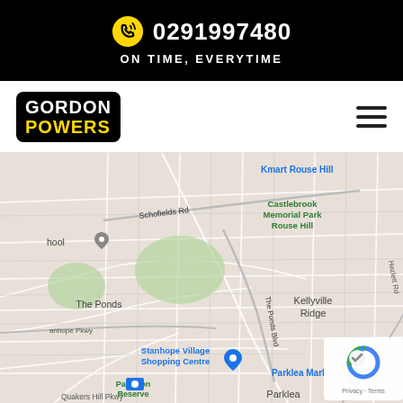0291997480 ON TIME, EVERYTIME
[Figure (logo): Gordon Powers logo — black rounded rectangle with white GORDON and yellow POWERS text]
[Figure (map): Google Maps screenshot showing Kellyville Ridge, Beaumont Hills, Rouse Hill, Stanhope Village, Parklea, The Ponds area in Sydney, Australia. Landmarks include Kmart Rouse Hill, Castlebrook Memorial Park, Stanhope Village Shopping Centre, Paterson Reserve, Parklea Markets, Bernie Sports Centre. Roads include Windsor Rd (A2), Schofields Rd, The Ponds Blvd, Sunnyholt Rd, Memorial Ave, Stanhope Pkwy, Quakers Hill Pkwy, Hezlett Rd.]